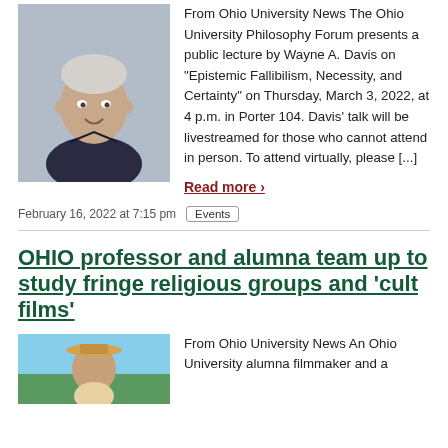[Figure (photo): Headshot of an older man with white/grey hair, smiling, against a light blue/grey background]
From Ohio University News The Ohio University Philosophy Forum presents a public lecture by Wayne A. Davis on “Epistemic Fallibilism, Necessity, and Certainty” on Thursday, March 3, 2022, at 4 p.m. in Porter 104. Davis’ talk will be livestreamed for those who cannot attend in person. To attend virtually, please [...]
Read more ›
February 16, 2022 at 7:15 pm
Events
OHIO professor and alumna team up to study fringe religious groups and ‘cult films’
[Figure (photo): Photo of a woman wearing a hat outdoors with bright background]
From Ohio University News An Ohio University alumna filmmaker and a